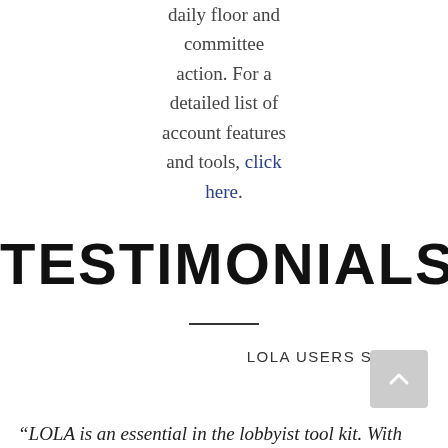daily floor and committee action. For a detailed list of account features and tools, click here.
TESTIMONIALS
LOLA USERS SHARE
“LOLA is an essential in the lobbyist tool kit. With